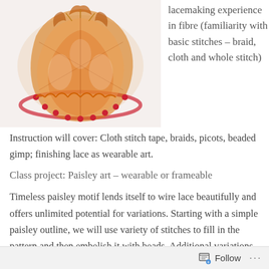[Figure (photo): A decorative wire lace paisley brooch or art piece featuring orange metallic wire lacemaking with red beaded edges, shown on a white background.]
lacemaking experience in fibre (familiarity with basic stitches – braid, cloth and whole stitch)
Instruction will cover: Cloth stitch tape, braids, picots, beaded gimp; finishing lace as wearable art.
Class project: Paisley art – wearable or frameable
Timeless paisley motif lends itself to wire lace beautifully and offers unlimited potential for variations. Starting with a simple paisley outline, we will use variety of stitches to fill in the pattern and then embelish it with beads. Additional variations will be discussed and demonstrated. Experimentation and
Follow ...